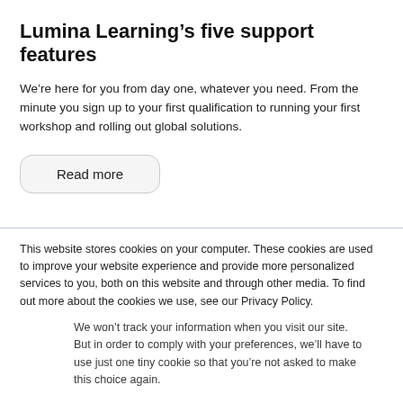Lumina Learning’s five support features
We’re here for you from day one, whatever you need. From the minute you sign up to your first qualification to running your first workshop and rolling out global solutions.
Read more
This website stores cookies on your computer. These cookies are used to improve your website experience and provide more personalized services to you, both on this website and through other media. To find out more about the cookies we use, see our Privacy Policy.
We won’t track your information when you visit our site. But in order to comply with your preferences, we’ll have to use just one tiny cookie so that you’re not asked to make this choice again.
Accept
Decline